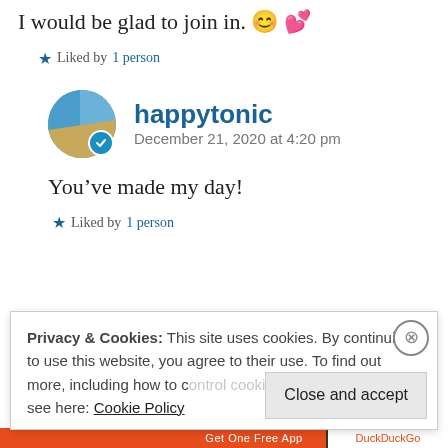I would be glad to join in. 😊 💕
⭐ Liked by 1 person
happytonic
December 21, 2020 at 4:20 pm
You've made my day!
⭐ Liked by 1 person
Privacy & Cookies: This site uses cookies. By continuing to use this website, you agree to their use. To find out more, including how to control cookies, see here: Cookie Policy